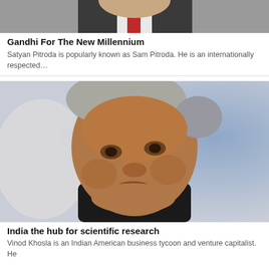[Figure (photo): Partial photo of a man in a suit with red tie, cropped at top]
Gandhi For The New Millennium
Satyan Pitroda is popularly known as Sam Pitroda. He is an internationally respected...
[Figure (photo): Portrait photo of Vinod Khosla, an older man with grey hair wearing a black top, against a blurred blue background]
India the hub for scientific research
Vinod Khosla is an Indian American business tycoon and venture capitalist. He